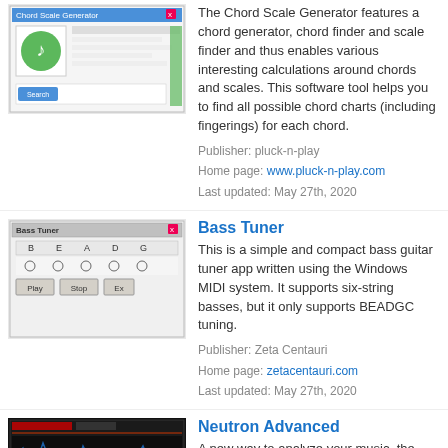[Figure (screenshot): Screenshot of Chord Scale Generator software interface]
The Chord Scale Generator features a chord generator, chord finder and scale finder and thus enables various interesting calculations around chords and scales. This software tool helps you to find all possible chord charts (including fingerings) for each chord.
Publisher: pluck-n-play
Home page: www.pluck-n-play.com
Last updated: May 27th, 2020
Bass Tuner
[Figure (screenshot): Screenshot of Bass Tuner application with BEADG string tuning interface]
This is a simple and compact bass guitar tuner app written using the Windows MIDI system. It supports six-string basses, but it only supports BEADGC tuning.
Publisher: Zeta Centauri
Home page: zetacentauri.com
Last updated: May 27th, 2020
Neutron Advanced
[Figure (screenshot): Screenshot of Neutron Advanced audio plugin interface with dark background and waveform display]
A new way to analyze your music, the Tonal Balance Control plug-in communicates with the Neutron 2 and Ozone 8 Equalizers (available separately). This new inter-plug-in communication lets you fix mix issues that hinder mastering and bridges the gap between the two. No more context